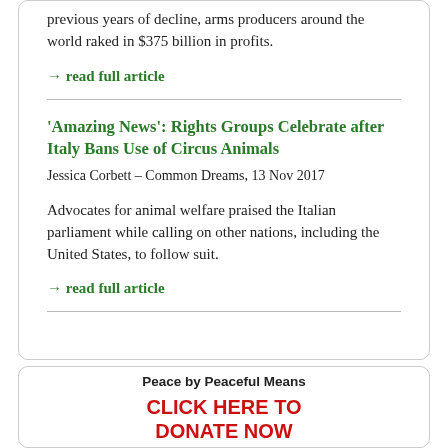previous years of decline, arms producers around the world raked in $375 billion in profits.
→ read full article
'Amazing News': Rights Groups Celebrate after Italy Bans Use of Circus Animals
Jessica Corbett – Common Dreams, 13 Nov 2017
Advocates for animal welfare praised the Italian parliament while calling on other nations, including the United States, to follow suit.
→ read full article
Peace by Peaceful Means
CLICK HERE TO DONATE NOW